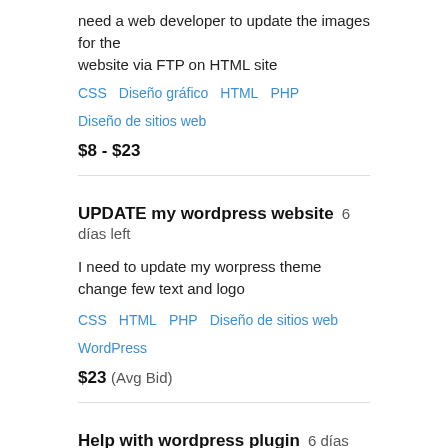need a web developer to update the images for the website via FTP on HTML site
CSS  Diseño gráfico  HTML  PHP  Diseño de sitios web
$8 - $23
UPDATE my wordpress website  6 días left
I need to update my worpress theme change few text and logo
CSS  HTML  PHP  Diseño de sitios web  WordPress
$23  (Avg Bid)
Help with wordpress plugin  6 días left
VERIFICADO
Help with wordpress plugin displaying differently on different sites